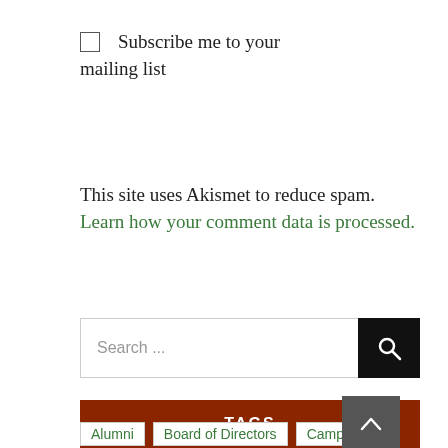Subscribe me to your mailing list
This site uses Akismet to reduce spam. Learn how your comment data is processed.
Search ...
TAGS
Alumni
Board of Directors
Campaign